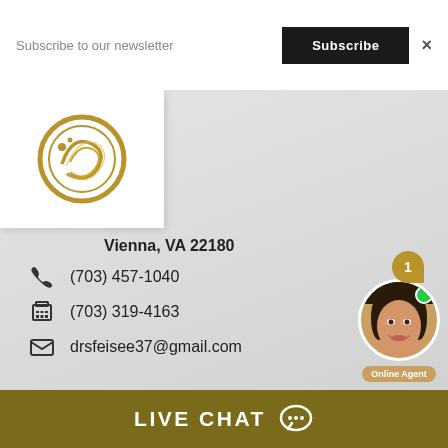Subscribe to our newsletter
Subscribe
×
[Figure (logo): Gold circular logo on white card background]
Vienna, VA 22180
(703) 457-1040
(703) 319-4163
drsfeisee37@gmail.com
[Figure (photo): Online agent chat widget with female agent photo, notification bubble showing 1, green online dot, and Online Agent label]
LIVE CHAT